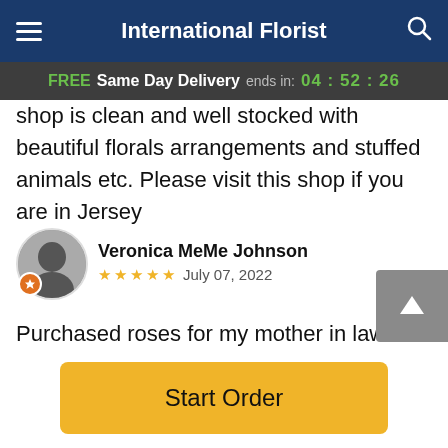International Florist
FREE Same Day Delivery ends in: 04 : 52 : 26
shop is clean and well stocked with beautiful florals arrangements and stuffed animals etc. Please visit this shop if you are in Jersey
Veronica MeMe Johnson
★★★★★ July 07, 2022
Purchased roses for my mother in law's resting place. Had a conversation with the shop owner he was so delightful. The shop is clean and well stocked with beautiful florals arrangements and stuffed animals etc. Please visit this shop if you are in Jersey
Start Order